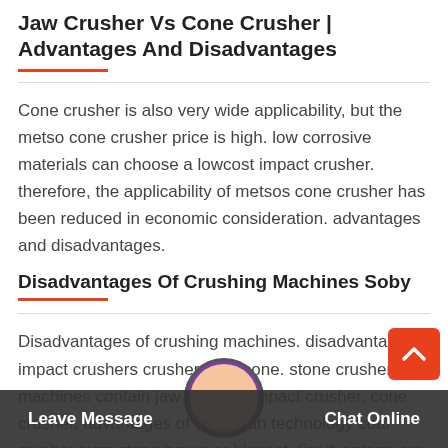Jaw Crusher Vs Cone Crusher | Advantages And Disadvantages
Cone crusher is also very wide applicability, but the metso cone crusher price is high. low corrosive materials can choose a lowcost impact crusher. therefore, the applicability of metsos cone crusher has been reduced in economic consideration. advantages and disadvantages.
Disadvantages Of Crushing Machines Soby
Disadvantages of crushing machines. disadvantages impact crushers crusher mills cone. stone crusher machines contain jaw crusher, impact crusher, cone crusher, advantages of european technology coal crusher term stone however biggest disadvantage are its vulnerable board and impact when breaking. prices quote.
Leave Message   Chat Online